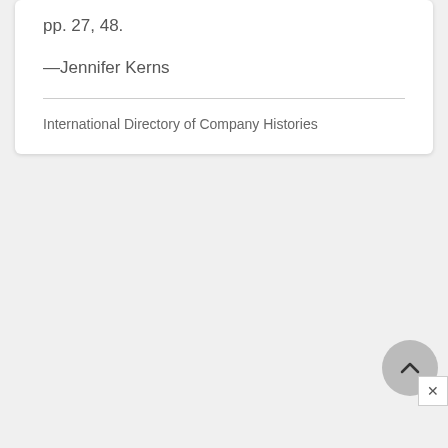pp. 27, 48.
—Jennifer Kerns
International Directory of Company Histories